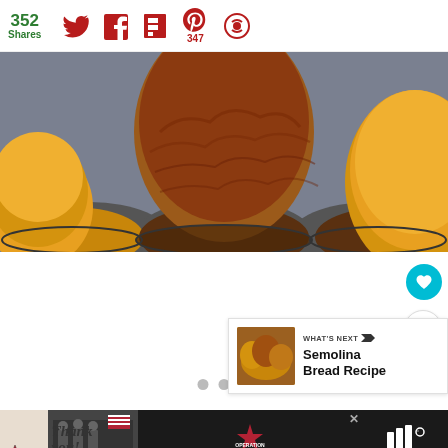352 Shares — social share bar with Twitter, Facebook, Flipboard, Pinterest (347), and another icon
[Figure (photo): Close-up photo of baked muffins in a metal muffin tin, golden-brown and rustic looking]
[Figure (infographic): White content area with navigation dots and floating action buttons (heart/favorite and share), plus a 'WHAT'S NEXT' card showing Semolina Bread Recipe thumbnail]
[Figure (photo): Advertisement banner: 'Thank you' with American flag and firefighters photo, Operation Gratitude logo, close button, and weather widget logo]